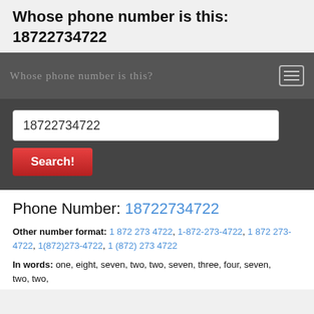Whose phone number is this: 18722734722
[Figure (screenshot): Navigation bar with handwritten-style text 'Whose phone number is this?' and hamburger menu icon on dark gray background]
[Figure (screenshot): Search bar with phone number 18722734722 entered and a red Search! button below, on dark gray background]
Phone Number: 18722734722
Other number format: 1 872 273 4722, 1-872-273-4722, 1 872 273-4722, 1(872)273-4722, 1 (872) 273 4722
In words: one, eight, seven, two, two, seven, three, four, seven, two, two,